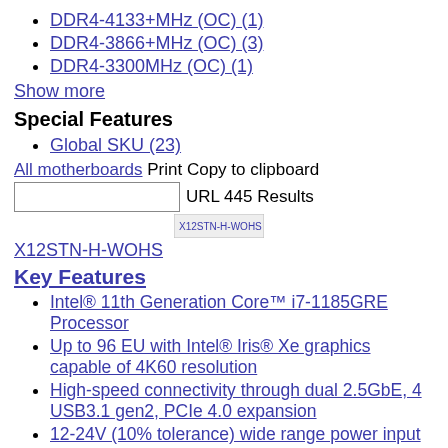DDR4-4133+MHz (OC) (1)
DDR4-3866+MHz (OC) (3)
DDR4-3300MHz (OC) (1)
Show more
Special Features
Global SKU (23)
All motherboards Print Copy to clipboard
URL 445 Results
[Figure (screenshot): Small thumbnail image of X12STN-H-WOHS product]
X12STN-H-WOHS
Key Features
Intel® 11th Generation Core™ i7-1185GRE Processor
Up to 96 EU with Intel® Iris® Xe graphics capable of 4K60 resolution
High-speed connectivity through dual 2.5GbE, 4 USB3.1 gen2, PCIe 4.0 expansion
12-24V (10% tolerance) wide range power input support
100% wide temp grade design and components applied